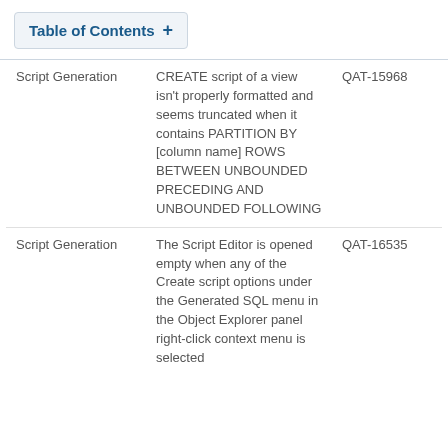Table of Contents +
|  |  |  |
| --- | --- | --- |
| Script Generation | CREATE script of a view isn't properly formatted and seems truncated when it contains PARTITION BY [column name] ROWS BETWEEN UNBOUNDED PRECEDING AND UNBOUNDED FOLLOWING | QAT-15968 |
| Script Generation | The Script Editor is opened empty when any of the Create script options under the Generated SQL menu in the Object Explorer panel right-click context menu is selected | QAT-16535 |